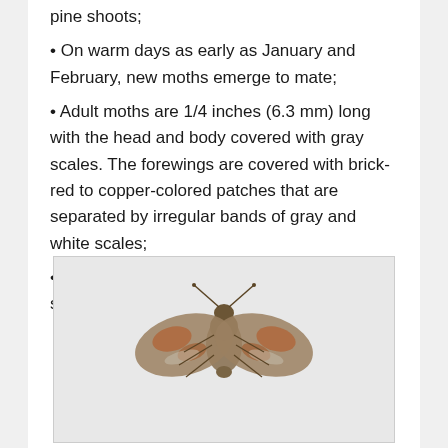pine shoots;
On warm days as early as January and February, new moths emerge to mate;
Adult moths are 1/4 inches (6.3 mm) long with the head and body covered with gray scales. The forewings are covered with brick-red to copper-colored patches that are separated by irregular bands of gray and white scales;
Adult females lay white to opaque eggs on shoots, needles, or terminal growth in spring;
[Figure (photo): Photograph of an adult moth with gray-scaled head and body, brick-red to copper-colored forewing patches separated by irregular bands of gray and white scales, shown from above on a white background.]